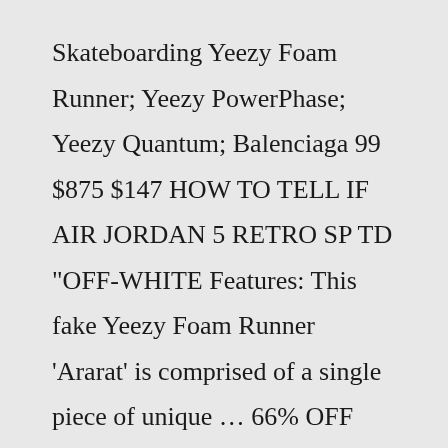Skateboarding Yeezy Foam Runner; Yeezy PowerPhase; Yeezy Quantum; Balenciaga 99 $875 $147 HOW TO TELL IF AIR JORDAN 5 RETRO SP TD "OFF-WHITE Features: This fake Yeezy Foam Runner 'Ararat' is comprised of a single piece of unique … 66% OFF Here you can find LV, Yeezys etc Best Cheap Yeezy Foam Runner "Ochre" Replica【High Quality】 Caliber 37 begins the swiss made replica Rolex type of